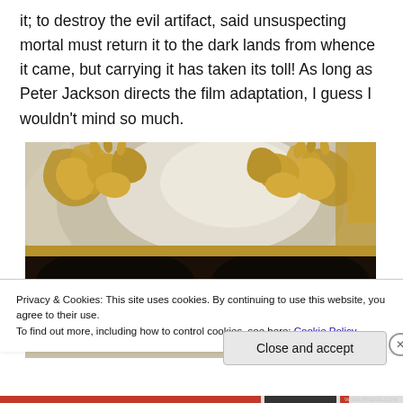it; to destroy the evil artifact, said unsuspecting mortal must return it to the dark lands from whence it came, but carrying it has taken its toll! As long as Peter Jackson directs the film adaptation, I guess I wouldn't mind so much.
[Figure (photo): Close-up photo of an ornate gold and white Venetian-style masquerade mask with elaborate golden decorative scrollwork along the top edge and black eye openings visible at the bottom.]
Privacy & Cookies: This site uses cookies. By continuing to use this website, you agree to their use.
To find out more, including how to control cookies, see here: Cookie Policy
Close and accept